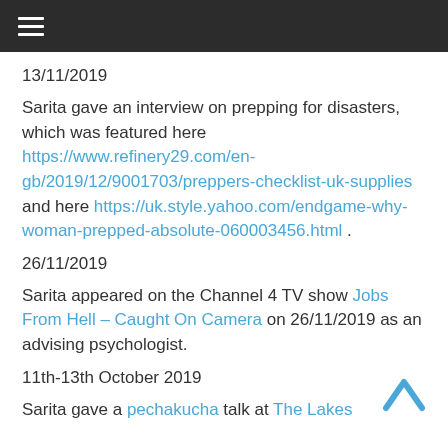≡ (hamburger menu)
13/11/2019
Sarita gave an interview on prepping for disasters, which was featured here https://www.refinery29.com/en-gb/2019/12/9001703/preppers-checklist-uk-supplies and here https://uk.style.yahoo.com/endgame-why-woman-prepped-absolute-060003456.html .
26/11/2019
Sarita appeared on the Channel 4 TV show Jobs From Hell – Caught On Camera on 26/11/2019 as an advising psychologist.
11th-13th October 2019
Sarita gave a pechakucha talk at The Lakes